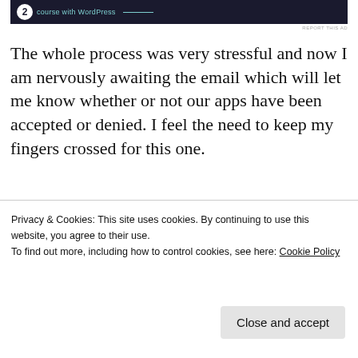[Figure (screenshot): Dark navy ad banner at top with circular icon, teal text reading 'course with WordPress', and a teal horizontal line]
The whole process was very stressful and now I am nervously awaiting the email which will let me know whether or not our apps have been accepted or denied. I feel the need to keep my fingers crossed for this one.
Advertisements
[Figure (screenshot): Partial advertisement showing 'Business in' in bold large text on light pink/beige background]
Privacy & Cookies: This site uses cookies. By continuing to use this website, you agree to their use.
To find out more, including how to control cookies, see here: Cookie Policy
Close and accept